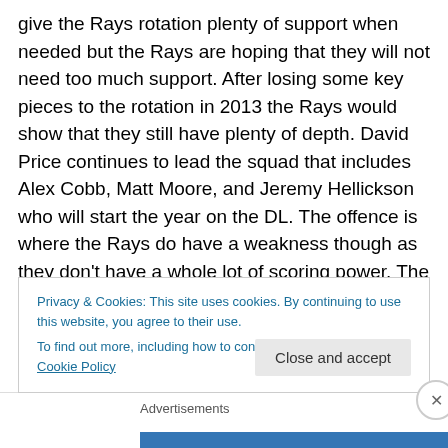give the Rays rotation plenty of support when needed but the Rays are hoping that they will not need too much support. After losing some key pieces to the rotation in 2013 the Rays would show that they still have plenty of depth. David Price continues to lead the squad that includes Alex Cobb, Matt Moore, and Jeremy Hellickson who will start the year on the DL. The offence is where the Rays do have a weakness though as they don't have a whole lot of scoring power. The Rays get wins through their small ball ways but eventually it would be nice to be able to score in bunches when they need it, in fact that
Privacy & Cookies: This site uses cookies. By continuing to use this website, you agree to their use.
To find out more, including how to control cookies, see here: Cookie Policy
Close and accept
Advertisements